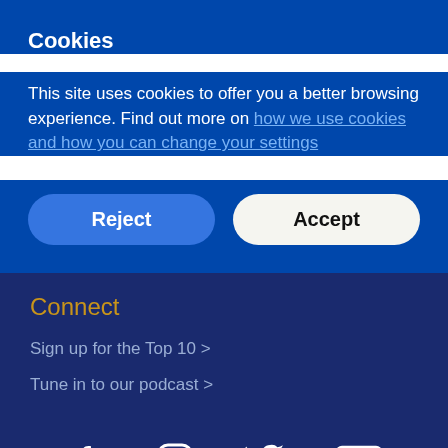Cookies
This site uses cookies to offer you a better browsing experience. Find out more on how we use cookies and how you can change your settings
Reject | Accept
Connect
Sign up for the Top 10 >
Tune in to our podcast >
[Figure (other): Social media icons: Facebook, Instagram, Twitter, YouTube]